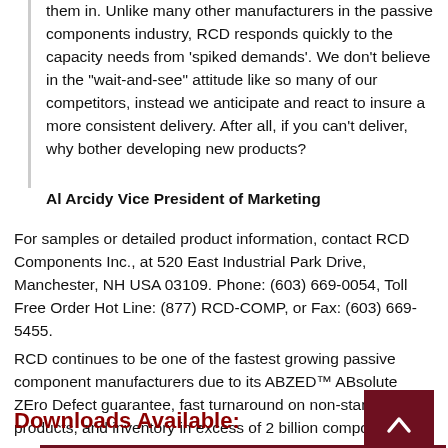them in. Unlike many other manufacturers in the passive components industry, RCD responds quickly to the capacity needs from 'spiked demands'. We don't believe in the "wait-and-see" attitude like so many of our competitors, instead we anticipate and react to insure a more consistent delivery. After all, if you can't deliver, why bother developing new products?
Al Arcidy Vice President of Marketing
For samples or detailed product information, contact RCD Components Inc., at 520 East Industrial Park Drive, Manchester, NH USA 03109. Phone: (603) 669-0054, Toll Free Order Hot Line: (877) RCD-COMP, or Fax: (603) 669-5455.
RCD continues to be one of the fastest growing passive component manufacturers due to its ABZED™ ABsolute ZEro Defect guarantee, fast turnaround on non-standard products, and inventory in excess of 2 billion components.
Downloads Available:
News Release (PDF)